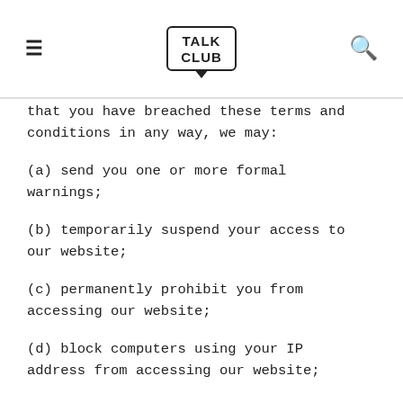TALK CLUB
that you have breached these terms and conditions in any way, we may:
(a) send you one or more formal warnings;
(b) temporarily suspend your access to our website;
(c) permanently prohibit you from accessing our website;
(d) block computers using your IP address from accessing our website;